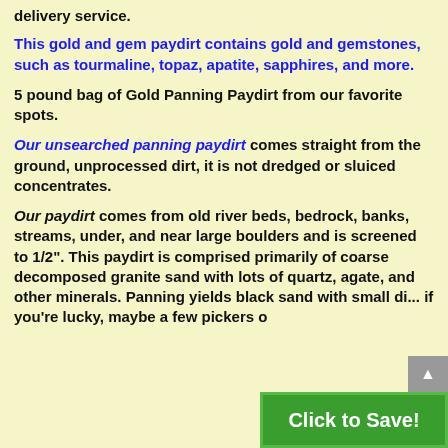delivery service.
This gold and gem paydirt contains gold and gemstones, such as tourmaline, topaz, apatite, sapphires, and more.
5 pound bag of Gold Panning Paydirt from our favorite spots.
Our unsearched panning paydirt comes straight from the ground, unprocessed dirt, it is not dredged or sluiced concentrates.
Our paydirt comes from old river beds, bedrock, banks, streams, under, and near large boulders and is screened to 1/2". This paydirt is comprised primarily of coarse decomposed granite sand with lots of quartz, agate, and other minerals. Panning yields black sand with sm... if you're lucky, maybe a few pickers o...